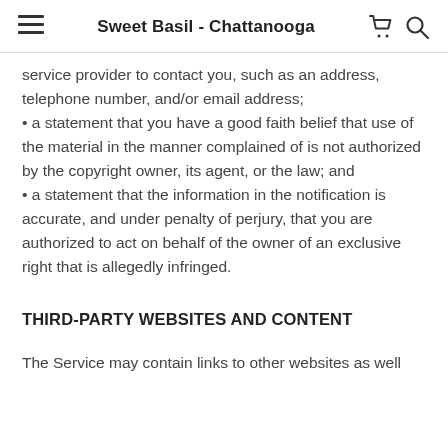Sweet Basil - Chattanooga
service provider to contact you, such as an address, telephone number, and/or email address;
• a statement that you have a good faith belief that use of the material in the manner complained of is not authorized by the copyright owner, its agent, or the law; and
• a statement that the information in the notification is accurate, and under penalty of perjury, that you are authorized to act on behalf of the owner of an exclusive right that is allegedly infringed.
THIRD-PARTY WEBSITES AND CONTENT
The Service may contain links to other websites as well